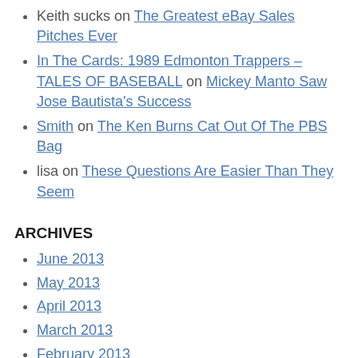Keith sucks on The Greatest eBay Sales Pitches Ever
In The Cards: 1989 Edmonton Trappers – TALES OF BASEBALL on Mickey Manto Saw Jose Bautista's Success
Smith on The Ken Burns Cat Out Of The PBS Bag
lisa on These Questions Are Easier Than They Seem
ARCHIVES
June 2013
May 2013
April 2013
March 2013
February 2013
January 2013
December 2012
November 2012
October 2012
July 2012